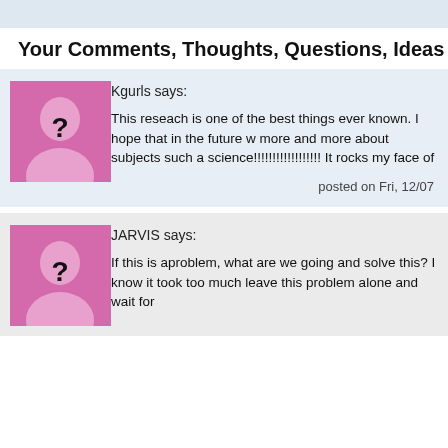Your Comments, Thoughts, Questions, Ideas
Kgurls says:
This reseach is one of the best things ever known. I hope that in the future w more and more about subjects such a science!!!!!!!!!!!!!!!!!! It rocks my face of
posted on Fri, 12/07
JARVIS says:
If this is aproblem, what are we going and solve this? I know it took too much leave this problem alone and wait for